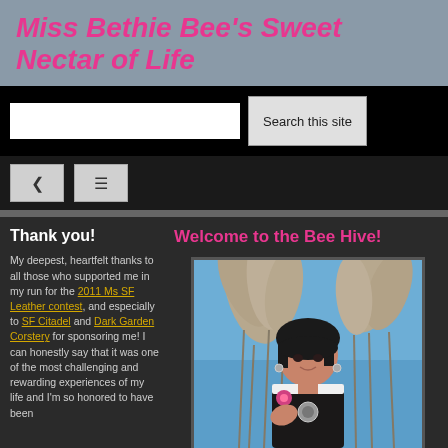Miss Bethie Bee's Sweet Nectar of Life
[Figure (screenshot): Search bar with text input and 'Search this site' button on black background]
[Figure (screenshot): Navigation bar with back arrow icon and hamburger menu icon]
Thank you!
My deepest, heartfelt thanks to all those who supported me in my run for the 2011 Ms SF Leather contest, and especially to SF Citadel and Dark Garden Corstery for sponsoring me! I can honestly say that it was one of the most challenging and rewarding experiences of my life and I'm so honored to have been
Welcome to the Bee Hive!
[Figure (photo): Woman with dark hair wearing jewelry with large pampas grass plumes in background against blue sky]